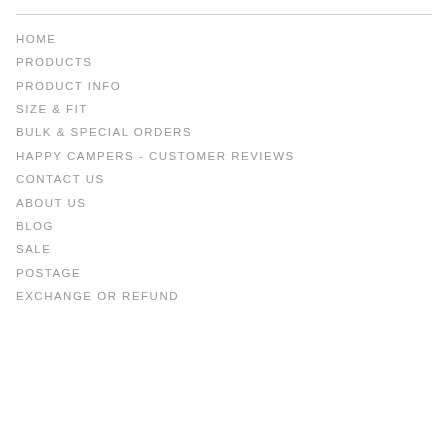HOME
PRODUCTS
PRODUCT INFO
SIZE & FIT
BULK & SPECIAL ORDERS
HAPPY CAMPERS - CUSTOMER REVIEWS
CONTACT US
ABOUT US
BLOG
SALE
POSTAGE
EXCHANGE OR REFUND